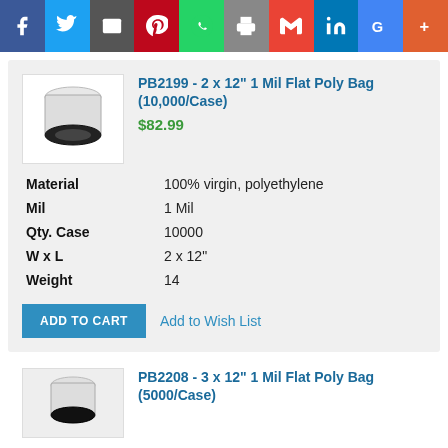[Figure (infographic): Social media share bar with icons: Facebook, Twitter, Email, Pinterest, WhatsApp, Print, Gmail, LinkedIn, Google+, More]
[Figure (photo): Product photo of flat poly bags]
PB2199 - 2 x 12" 1 Mil Flat Poly Bag (10,000/Case)
$82.99
| Material | 100% virgin, polyethylene |
| Mil | 1 Mil |
| Qty. Case | 10000 |
| W x L | 2 x 12" |
| Weight | 14 |
ADD TO CART  Add to Wish List
[Figure (photo): Product photo of flat poly bags (second product)]
PB2208 - 3 x 12" 1 Mil Flat Poly Bag (5000/Case)